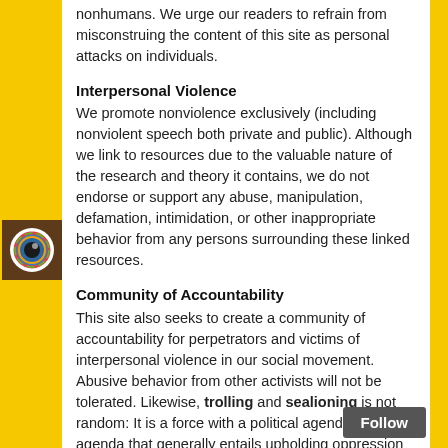nonhumans. We urge our readers to refrain from misconstruing the content of this site as personal attacks on individuals.
Interpersonal Violence
We promote nonviolence exclusively (including nonviolent speech both private and public). Although we link to resources due to the valuable nature of the research and theory it contains, we do not endorse or support any abuse, manipulation, defamation, intimidation, or other inappropriate behavior from any persons surrounding these linked resources.
Community of Accountability
This site also seeks to create a community of accountability for perpetrators and victims of interpersonal violence in our social movement. Abusive behavior from other activists will not be tolerated. Likewise, trolling and sealioning is not random: It is a force with a political agenda, an agenda that generally entails upholding oppression and misogyny. Vegan